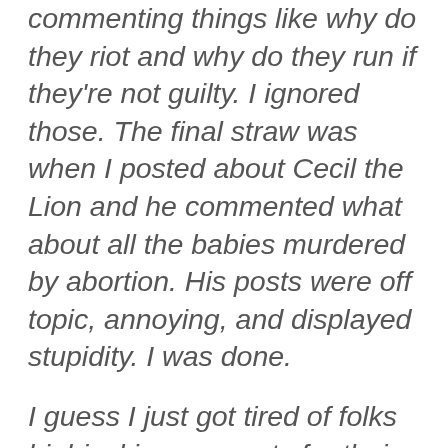commenting things like why do they riot and why do they run if they're not guilty. I ignored those. The final straw was when I posted about Cecil the Lion and he commented what about all the babies murdered by abortion. His posts were off topic, annoying, and displayed stupidity. I was done.
I guess I just got tired of folks highjacking my posts for their own